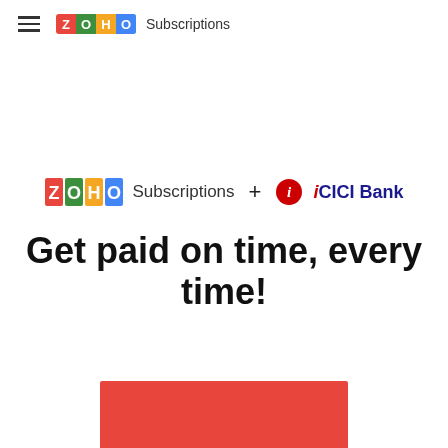ZOHO Subscriptions
[Figure (logo): Zoho Subscriptions + ICICI Bank logo row]
Get paid on time, every time!
[Figure (other): Red rectangular button/bar at the bottom of the page]